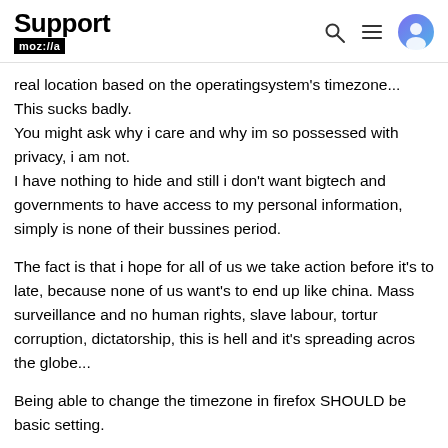Support moz://a
real location based on the operatingsystem's timezone... This sucks badly.
You might ask why i care and why im so possessed with privacy, i am not.
I have nothing to hide and still i don't want bigtech and governments to have access to my personal information, simply is none of their bussines period.
The fact is that i hope for all of us we take action before it's to late, because none of us want's to end up like china. Mass surveillance and no human rights, slave labour, torture, corruption, dictatorship, this is hell and it's spreading across the globe...
Being able to change the timezone in firefox SHOULD be basic setting.